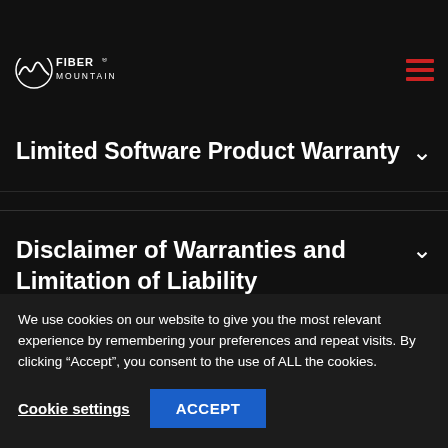[Figure (logo): Fiber Mountain logo with mountain/wave graphic and text FIBER MOUNTAIN]
Restrictions on Copying
Limited Software Product Warranty
Disclaimer of Warranties and Limitation of Liability
We use cookies on our website to give you the most relevant experience by remembering your preferences and repeat visits. By clicking “Accept”, you consent to the use of ALL the cookies.
Cookie settings  ACCEPT